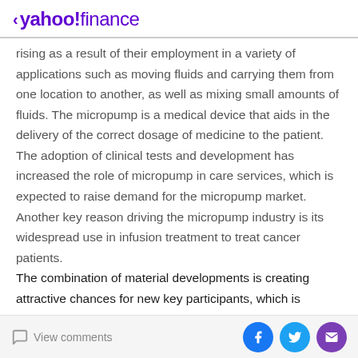< yahoo!finance
rising as a result of their employment in a variety of applications such as moving fluids and carrying them from one location to another, as well as mixing small amounts of fluids. The micropump is a medical device that aids in the delivery of the correct dosage of medicine to the patient. The adoption of clinical tests and development has increased the role of micropump in care services, which is expected to raise demand for the micropump market. Another key reason driving the micropump industry is its widespread use in infusion treatment to treat cancer patients.
The combination of material developments is creating attractive chances for new key participants, which is
View comments